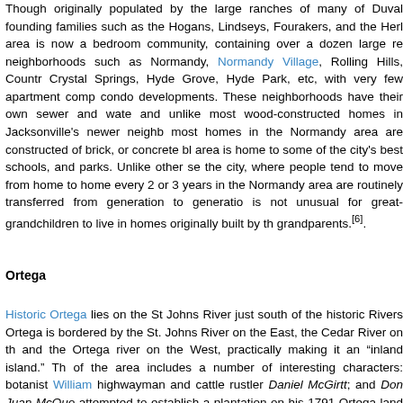Though originally populated by the large ranches of many of Duval founding families such as the Hogans, Lindseys, Fourakers, and the Herl area is now a bedroom community, containing over a dozen large re neighborhoods such as Normandy, Normandy Village, Rolling Hills, Countr Crystal Springs, Hyde Grove, Hyde Park, etc, with very few apartment comp condo developments. These neighborhoods have their own sewer and wate and unlike most wood-constructed homes in Jacksonville's newer neighb most homes in the Normandy area are constructed of brick, or concrete bl area is home to some of the city's best schools, and parks. Unlike other se the city, where people tend to move from home to home every 2 or 3 years in the Normandy area are routinely transferred from generation to generatio is not unusual for great-grandchildren to live in homes originally built by th grandparents.[6].
Ortega
Historic Ortega lies on the St Johns River just south of the historic Rivers Ortega is bordered by the St. Johns River on the East, the Cedar River on th and the Ortega river on the West, practically making it an "inland island." Th of the area includes a number of interesting characters: botanist William highwayman and cattle rustler Daniel McGirtt; and Don Juan McQue attempted to establish a plantation on his 1791 Ortega land grant, but was leave due to attacks of Georgians and the French. Gangster George "Mach Kelly and his wife were rumored to be the mysterious couple who abruptly rented Grand Avenue home hours before a midnight police raid in 1933. home to hundreds of mid-size to large, turn-of-the-century homes and S